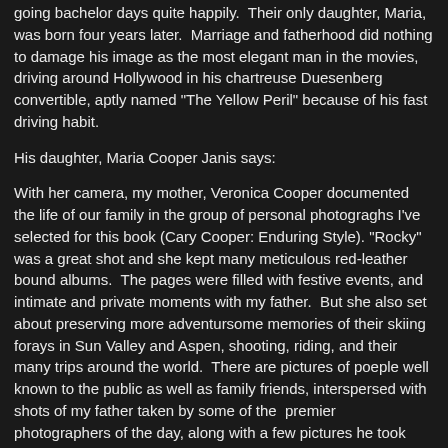going bachelor days quite happily.  Their only daughter, Maria, was born four years later.  Marriage and fatherhood did nothing to damage his image as the most elegant man in the movies, driving around Hollywood in his chartreuse Duesenberg convertible, aptly named "The Yellow Peril" because of his fast driving habit.
His daughter, Maria Cooper Janis says:
With her camera, my mother, Veronica Cooper documented the life of our family in the group of personal photograghs I've selected for this book (Cary Cooper: Enduring Style). "Rocky" was a great shot and she kept many meticulous red-leather bound albums.  The pages were filled with festive events, and intimate and private moments with my father.  But she also set about preserving more adventursome memories of their skiing forays in Sun Valley and Aspen, shooting, riding, and their many trips around the world.  There are pictures of poeple well known to the public as well as family friends, interspersed with shots of my father taken by some of the  premier photographers of the day, along with a few pictures he took himself.